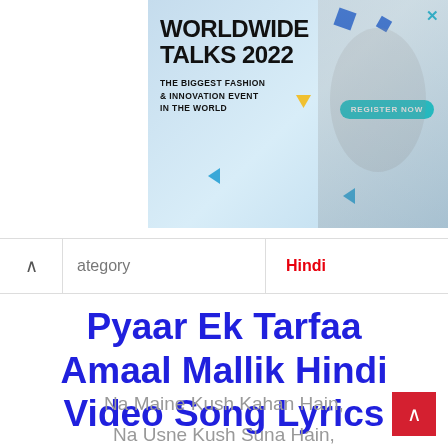[Figure (screenshot): Advertisement banner for Worldwide Talks 2022 fashion event with register now button and model photo on light blue background]
category   Hindi
Pyaar Ek Tarfaa Amaal Mallik Hindi Video Song Lyrics
Na Maine Kush Kahan Hain,
Na Usne Kush Suna Hain,
Ya Khamek Toh Ab...